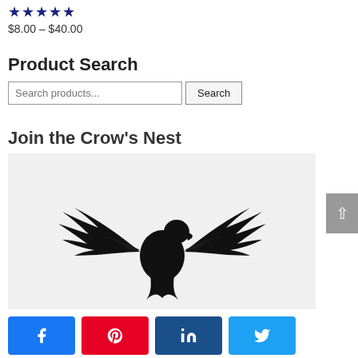★★★★★
$8.00 – $40.00
Product Search
Search products... [Search]
Join the Crow's Nest
[Figure (logo): Black silhouette of an eagle with wings spread wide on a light grey background]
[Figure (infographic): Row of four social share buttons: Facebook (blue), Pinterest (red), LinkedIn (dark blue), Twitter (light blue)]